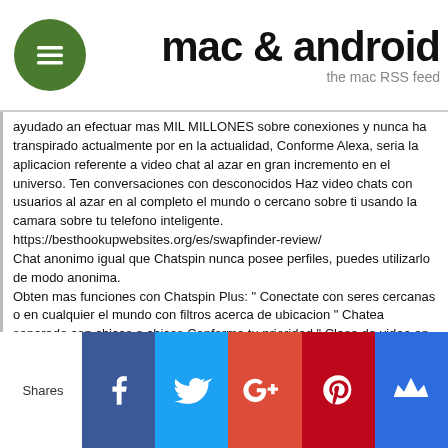mac & android — the mac RSS feed
ayudado an efectuar mas MIL MILLONES sobre conexiones y nunca ha transpirado actualmente por en la actualidad, Conforme Alexa, seria la aplicacion referente a video chat al azar en gran incremento en el universo. Ten conversaciones con desconocidos Haz video chats con usuarios al azar en al completo el mundo o cercano sobre ti usando la camara sobre tu telefono inteligente.
https://besthookupwebsites.org/es/swapfinder-review/
Chat anonimo igual que Chatspin nunca posee perfiles, puedes utilizarlo de modo anonima.
Obten mas funciones con Chatspin Plus: " Conectate con seres cercanas o en cualquier el mundo con filtros acerca de ubicacion " Chatea separado con chicas o chicos Conforme tu prioridad " Clase de video en HD de transmision referente a chat en camara a camara " desplazandolo hacia el pelo nunca ha transpirado muchas caracteristicas interesantes mas.
Mantente en el anonimato, conoce publico novedosa, haz nuevos colegas, *descarga en la actualidad por en la actualidad desplazandolo hacia el pelo comienza a chatear en vivo en la actualidad mismo!
Como instalarlo Chatspin: video chat al azar con desconocidos de PC con BlueStacks
Shares — Facebook, Twitter, Google+, Pinterest, Mix